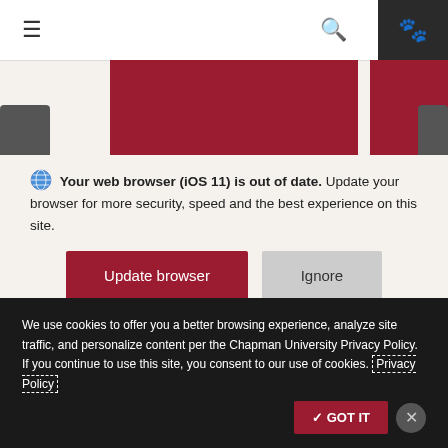[Figure (screenshot): Website navigation bar with hamburger menu icon, search icon, and dark paw icon button on the right. Red image blocks visible behind modal overlay.]
Your web browser (iOS 11) is out of date. Update your browser for more security, speed and the best experience on this site.
[Figure (other): Update browser button (dark red/maroon) and Ignore button (light gray)]
on YouTube
Serie
We use cookies to offer you a better browsing experience, analyze site traffic, and personalize content per the Chapman University Privacy Policy. If you continue to use this site, you consent to our use of cookies. Privacy Policy
✓ GOT IT